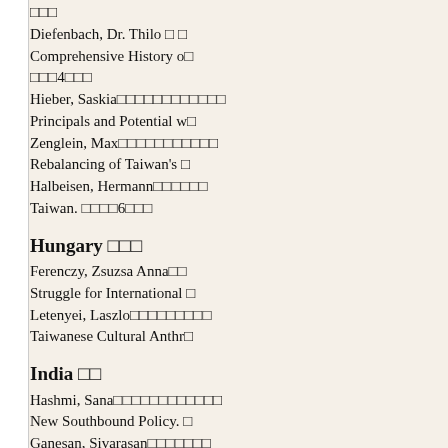□□□
Diefenbach, Dr. Thilo □ □ Comprehensive History o□ □□□4□□□
Hieber, Saskia□□□□□□□□□□□ Principals and Potential w□
Zenglein, Max□□□□□□□□□□ Rebalancing of Taiwan's □
Halbeisen, Hermann□□□□□ Taiwan. □□□□6□□□
Hungary □□□
Ferenczy, Zsuzsa Anna□□ Struggle for International □
Letenyei, Laszlo□□□□□□□□ Taiwanese Cultural Anthr□
India □□
Hashmi, Sana□□□□□□□□□□□ New Southbound Policy. □
Ganesan, Sivarasan□□□□□□ and Taiwan- A Cross-cultu□
Valiyathadathil, John, Joji□